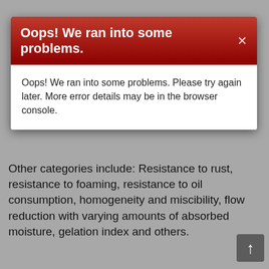[Figure (screenshot): Browser error modal dialog with red header reading 'Oops! We ran into some problems.' and white body with error message text]
Oops! We ran into some problems.
Oops! We ran into some problems. Please try again later. More error details may be in the browser console.
Other categories include: Resistance to rust, resistance to foaming, resistance to oil consumption, homogeneity and miscibility, flow reduction with varying amounts of absorbed moisture, gelation index and others.
As one can see just going from the previous SJ to the SL rating is a significant improvement. As the ratings have progressed today there have been less difference between them. But in all cases they are back specified.
Regarding cool whether gel formation, a small except from SAE j300 1999:
4. Because engine pumping, cranking and starting are all important at low temperatures the selection of an oil for winter operation should consider both the viscosity required for oil flow as well as cranking and starting, at the lowest expected ambient